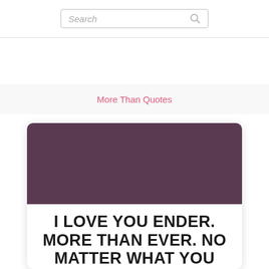Search
More Than Quotes
[Figure (illustration): Dark purple/mauve colored rectangular banner image at the top of a quote card]
I LOVE YOU ENDER. MORE THAN EVER. NO MATTER WHAT YOU DECIDE